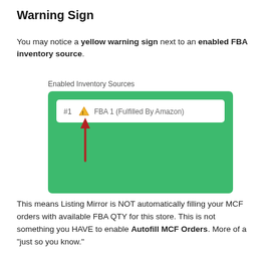Warning Sign
You may notice a yellow warning sign next to an enabled FBA inventory source.
[Figure (screenshot): Screenshot showing 'Enabled Inventory Sources' panel with a green background, containing a white row with '#1' followed by a yellow warning triangle icon and 'FBA 1 (Fulfilled By Amazon)', with a red upward arrow pointing to the warning icon.]
This means Listing Mirror is NOT automatically filling your MCF orders with available FBA QTY for this store. This is not something you HAVE to enable Autofill MCF Orders. More of a "just so you know."